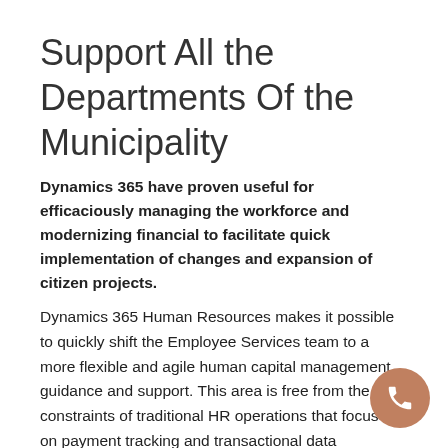Support All the Departments Of the Municipality
Dynamics 365 have proven useful for efficaciously managing the workforce and modernizing financial to facilitate quick implementation of changes and expansion of citizen projects.
Dynamics 365 Human Resources makes it possible to quickly shift the Employee Services team to a more flexible and agile human capital management guidance and support. This area is free from the constraints of traditional HR operations that focus on payment tracking and transactional data management more than anything else. Efficiently managing the workforce whenever there is a need to increase or reduce the